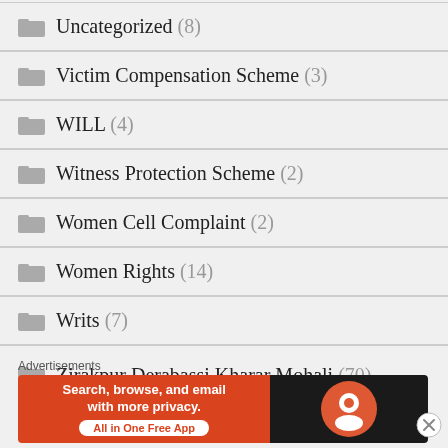Uncategorized (8)
Victim Compensation Scheme (3)
WILL (4)
Witness Protection Scheme (2)
Women Cell Complaint (2)
Women Rights (14)
Writs (7)
Zirakpur Derabassi Kharar Mohali (70)
Advertisements
[Figure (screenshot): DuckDuckGo advertisement banner: Search, browse, and email with more privacy. All in One Free App.]